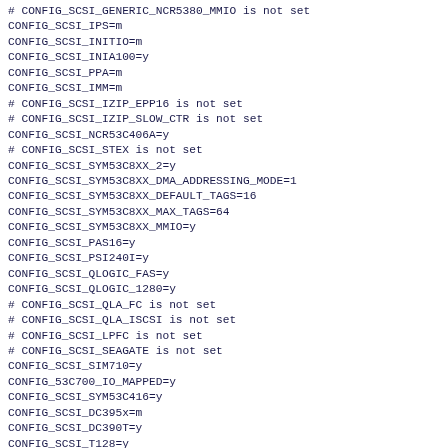# CONFIG_SCSI_GENERIC_NCR5380_MMIO is not set
CONFIG_SCSI_IPS=m
CONFIG_SCSI_INITIO=m
CONFIG_SCSI_INIA100=y
CONFIG_SCSI_PPA=m
CONFIG_SCSI_IMM=m
# CONFIG_SCSI_IZIP_EPP16 is not set
# CONFIG_SCSI_IZIP_SLOW_CTR is not set
CONFIG_SCSI_NCR53C406A=y
# CONFIG_SCSI_STEX is not set
CONFIG_SCSI_SYM53C8XX_2=y
CONFIG_SCSI_SYM53C8XX_DMA_ADDRESSING_MODE=1
CONFIG_SCSI_SYM53C8XX_DEFAULT_TAGS=16
CONFIG_SCSI_SYM53C8XX_MAX_TAGS=64
CONFIG_SCSI_SYM53C8XX_MMIO=y
CONFIG_SCSI_PAS16=y
CONFIG_SCSI_PSI240I=y
CONFIG_SCSI_QLOGIC_FAS=y
CONFIG_SCSI_QLOGIC_1280=y
# CONFIG_SCSI_QLA_FC is not set
# CONFIG_SCSI_QLA_ISCSI is not set
# CONFIG_SCSI_LPFC is not set
# CONFIG_SCSI_SEAGATE is not set
CONFIG_SCSI_SIM710=y
CONFIG_53C700_IO_MAPPED=y
CONFIG_SCSI_SYM53C416=y
CONFIG_SCSI_DC395x=m
CONFIG_SCSI_DC390T=y
CONFIG_SCSI_T128=y
CONFIG_SCSI_U14_34F=y